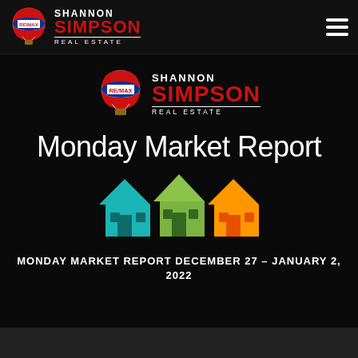[Figure (logo): Shannon Simpson RE/MAX Real Estate logo in navigation bar with hot air balloon icon]
[Figure (logo): Shannon Simpson RE/MAX Real Estate centered logo with hot air balloon]
Monday Market Report
[Figure (illustration): Three colorful houses illustration - teal, green-yellow, and orange colored houses]
MONDAY MARKET REPORT DECEMBER 27 – JANUARY 2, 2022